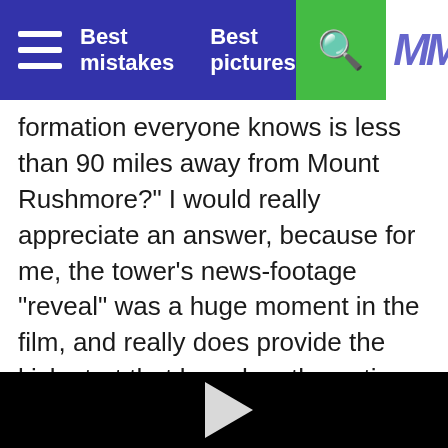Best mistakes   Best pictures
formation everyone knows is less than 90 miles away from Mount Rushmore?" I would really appreciate an answer, because for me, the tower's news-footage "reveal" was a huge moment in the film, and really does provide the kick-start that launches the entire third act of the film. For American audiences, why was it not the same as if Roy had struggled to attach a garden hose under a hastily-built plywood model with a hole in the middle, because the aliens implanted a vision of "Old Faithful" in his head?
[Figure (other): Black video player area with a play button in the center]